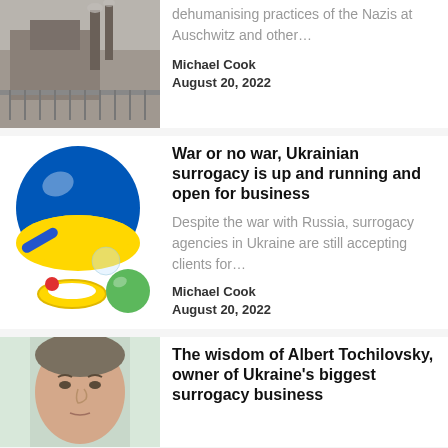[Figure (photo): Black and white historical photo of an industrial building complex with smokestacks]
dehumanising practices of the Nazis at Auschwitz and other…
Michael Cook
August 20, 2022
[Figure (photo): Colorful inflatable toys including a blue and yellow ball (Ukrainian flag colors), yellow ring, green ball, and other shapes on white background]
War or no war, Ukrainian surrogacy is up and running and open for business
Despite the war with Russia, surrogacy agencies in Ukraine are still accepting clients for…
Michael Cook
August 20, 2022
[Figure (photo): Close-up photo of a man's face, appears to be middle-aged with short hair, light background]
The wisdom of Albert Tochilovsky, owner of Ukraine's biggest surrogacy business